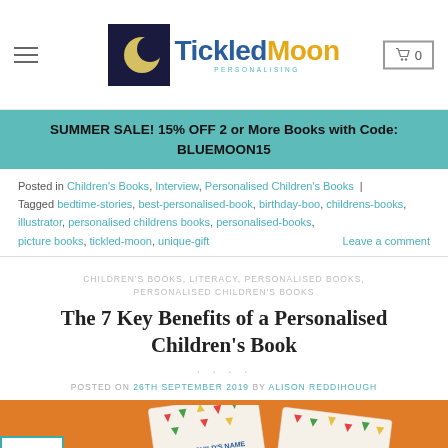Tickled Moon — website header with logo and navigation
SUMMER SALE! 15% OFF 2 or More Books with Code: BLUEMOON15
Posted in Children's Books, Interview, Personalised Children's Books | Tagged bedtime-stories, best-personalised-book, birthday-boo, childrens-books, illustrator, personalised childrens books, personalised-books, picture books, tickled-moon, unique-gift   Leave a comment
CHILDREN'S BOOKS, LITERACY, PERSONALISED BOOKS, PERSONALISED CHILDREN'S BOOKS
The 7 Key Benefits of a Personalised Children's Book
POSTED ON 26TH SEPTEMBER 2019 BY ALISON REDDIHOUGH
[Figure (photo): Featured image with orange background showing children's book covers, date badge showing 26 Sep in bottom left corner with teal border]